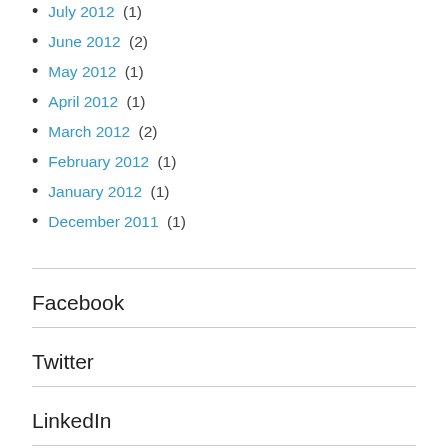July 2012 (1)
June 2012 (2)
May 2012 (1)
April 2012 (1)
March 2012 (2)
February 2012 (1)
January 2012 (1)
December 2011 (1)
Facebook
Twitter
LinkedIn
Instagram